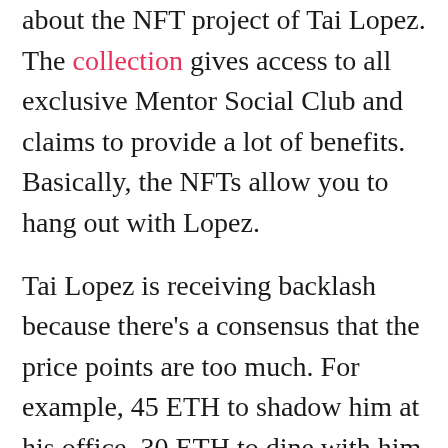about the NFT project of Tai Lopez. The collection gives access to all exclusive Mentor Social Club and claims to provide a lot of benefits. Basically, the NFTs allow you to hang out with Lopez.
Tai Lopez is receiving backlash because there's a consensus that the price points are too much. For example, 45 ETH to shadow him at his office, 30 ETH to dine with him at a Michelin restaurant and 32 ETH to get his Whatsapp number.
Farokh joined the NFT community in questioning the drop. He asked if anyone wants to pay 15.33 ETH to go clubbing with him or perhaps 12.27 to watch a movie together. This prompted Tai Lopez to reply to his tweet with an old photo of them together. He wrote, "but if you buy my NFT, you can come to